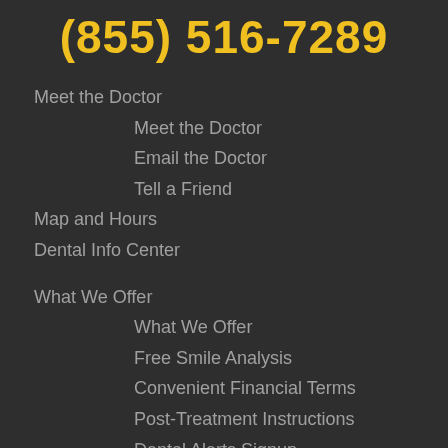(855) 516-7289
Meet the Doctor
Meet the Doctor
Email the Doctor
Tell a Friend
Map and Hours
Dental Info Center
What We Offer
What We Offer
Free Smile Analysis
Convenient Financial Terms
Post-Treatment Instructions
Dental Alerts Signup
Appointments
Appointments
New Patients
Recare/Recall
Free Smile Analysis